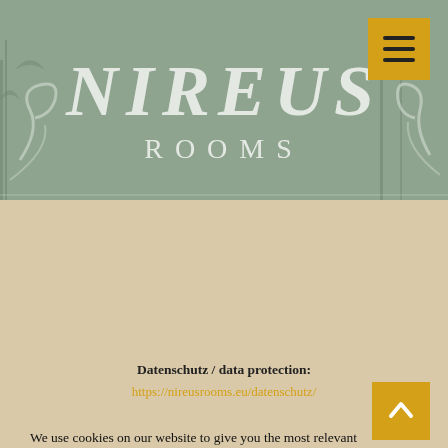[Figure (logo): Nireus Rooms logo with decorative art nouveau style typography on grey-green background with trees silhouette]
We use cookies on our website to give you the most relevant experience by remembering your preferences and repeat visits. By clicking "Accept", you consent to the use of ALL the cookies.
Cookie settings
ACCEPT
Datenschutz / data protection:
https://nireusrooms.eu/datenschutz/